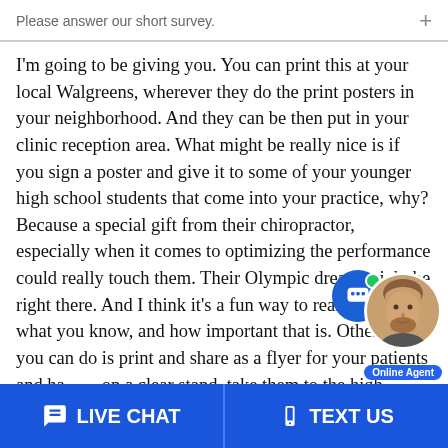Please answer our short survey.
I'm going to be giving you. You can print this at your local Walgreens, wherever they do the print posters in your neighborhood. And they can be then put in your clinic reception area. What might be really nice is if you sign a poster and give it to some of your younger high school students that come into your practice, why? Because a special gift from their chiropractor, especially when it comes to optimizing the performance could really touch them. Their Olympic dream might be right there. And I think it's a fun way to really share what you know, and how important that is. Other things you can do is print and share as a flyer for your patients and have it on a clear stand, take them to the high school.
[Figure (other): Live chat widget with blue chat icon, green online dot, and a photo of a male online agent with beard. An 'Online Agent' label badge is shown below.]